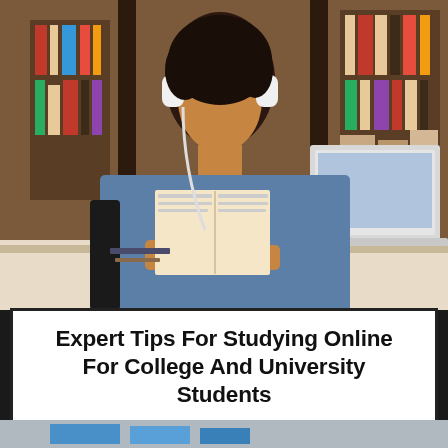[Figure (photo): A young woman with headphones on, reading a book while sitting at a library desk in front of a laptop. Bookshelves filled with books are visible in the background.]
Expert Tips For Studying Online For College And University Students
[Figure (photo): Partial view of a second photo showing what appears to be books or notebooks on a flat surface, partially cropped at the bottom of the page.]